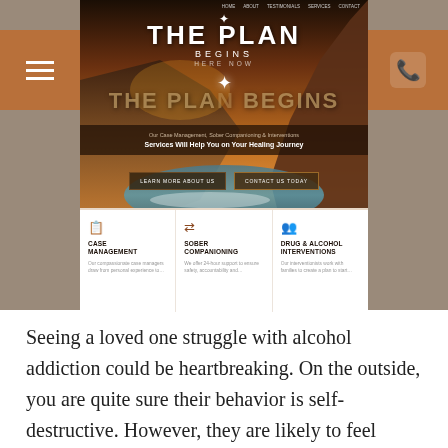[Figure (screenshot): Screenshot of a website called 'The Plan Begins Here Now' showing a hero banner with coastal mountain landscape, navigation bar, hamburger menu, phone icon, headline 'THE PLAN BEGINS', subtitle about Case Management, Sober Companioning & Interventions, two CTA buttons, and three service columns: Case Management, Sober Companioning, Drug & Alcohol Interventions]
Seeing a loved one struggle with alcohol addiction could be heartbreaking. On the outside, you are quite sure their behavior is self-destructive. However, they are likely to feel differently about the problem, and they may think that you're overreacting. This